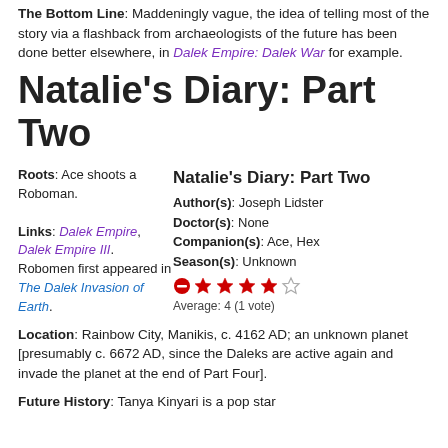The Bottom Line: Maddeningly vague, the idea of telling most of the story via a flashback from archaeologists of the future has been done better elsewhere, in Dalek Empire: Dalek War for example.
Natalie's Diary: Part Two
Roots: Ace shoots a Roboman.
Natalie's Diary: Part Two
Author(s): Joseph Lidster
Doctor(s): None
Companion(s): Ace, Hex
Season(s): Unknown
Average: 4 (1 vote)
Links: Dalek Empire, Dalek Empire III. Robomen first appeared in The Dalek Invasion of Earth.
Location: Rainbow City, Manikis, c. 4162 AD; an unknown planet [presumably c. 6672 AD, since the Daleks are active again and invade the planet at the end of Part Four].
Future History: Tanya Kinyari is a pop star